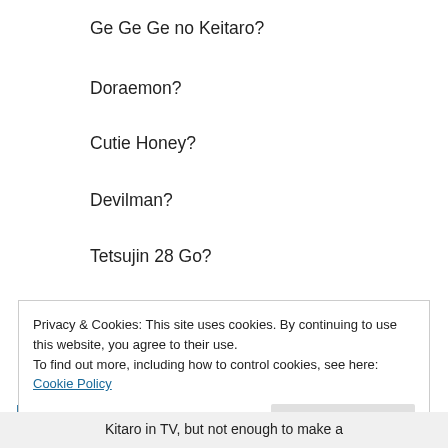Ge Ge Ge no Keitaro?
Doraemon?
Cutie Honey?
Devilman?
Tetsujin 28 Go?
Mach Go Go Go?
QwQ
↳ Reply
Privacy & Cookies: This site uses cookies. By continuing to use this website, you agree to their use.
To find out more, including how to control cookies, see here: Cookie Policy
Kitaro in TV, but not enough to make a